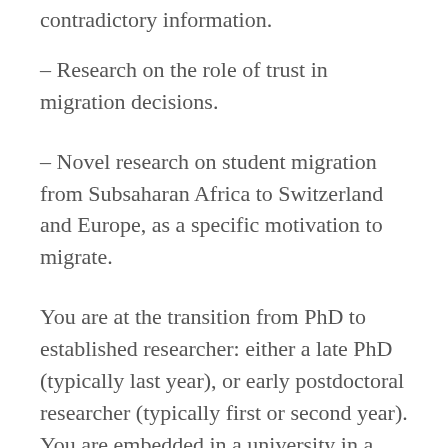contradictory information.
– Research on the role of trust in migration decisions.
– Novel research on student migration from Subsaharan Africa to Switzerland and Europe, as a specific motivation to migrate.
You are at the transition from PhD to established researcher: either a late PhD (typically last year), or early postdoctoral researcher (typically first or second year). You are embedded in a university in a Subsaharan African country or in